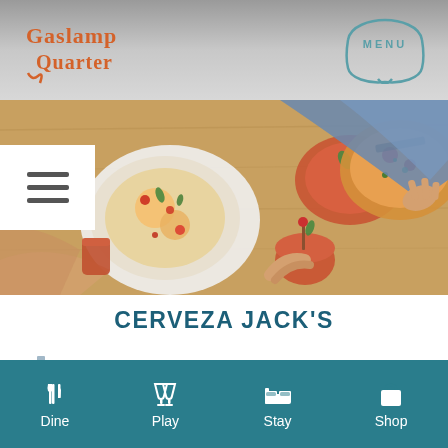Gaslamp Quarter | MENU
[Figure (photo): Overhead view of food dishes and drinks on a wooden table, people's hands visible]
CERVEZA JACK'S
322 5th Ave, San Diego, CA 92101, USA
619-546-9292
Dine | Play | Stay | Shop